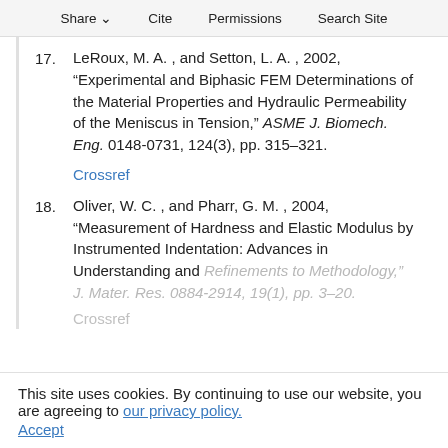Share  Cite  Permissions  Search Site
17. LeRoux, M. A. , and Setton, L. A. , 2002, “Experimental and Biphasic FEM Determinations of the Material Properties and Hydraulic Permeability of the Meniscus in Tension,” ASME J. Biomech. Eng. 0148-0731, 124(3), pp. 315–321.
Crossref
18. Oliver, W. C. , and Pharr, G. M. , 2004, “Measurement of Hardness and Elastic Modulus by Instrumented Indentation: Advances in Understanding and Refinements to Methodology,” J. Mater. Res. 0884-2914, 19(1), pp. 3–20.
Crossref
This site uses cookies. By continuing to use our website, you are agreeing to our privacy policy. Accept